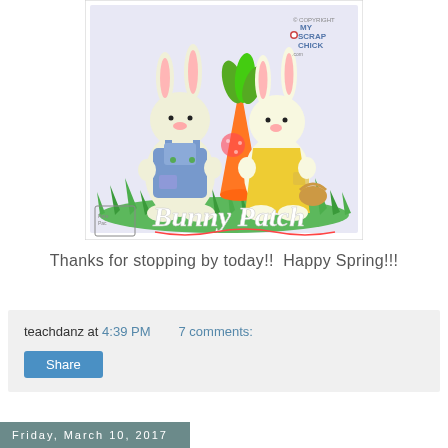[Figure (illustration): Two cartoon Easter bunnies standing in green grass. Left bunny wears blue overalls with a patch; right bunny wears a yellow dress holding a large orange carrot. Text 'Bunny Patch' in white script at the bottom. Logo 'My Scrap Chick' in top right corner. 'Pare Pac' stamp in lower left.]
Thanks for stopping by today!!  Happy Spring!!!
teachdanz at 4:39 PM    7 comments:
Share
Friday, March 10, 2017